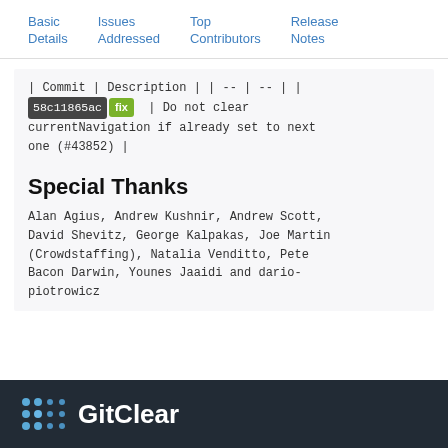Basic Details | Issues Addressed | Top Contributors | Release Notes
| Commit | Description | | -- | -- | | 58c11865ac fix | Do not clear currentNavigation if already set to next one (#43852) |
Special Thanks
Alan Agius, Andrew Kushnir, Andrew Scott, David Shevitz, George Kalpakas, Joe Martin (Crowdstaffing), Natalia Venditto, Pete Bacon Darwin, Younes Jaaidi and dario-piotrowicz
GitClear